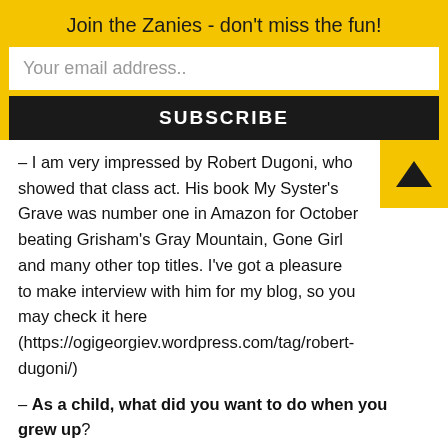Join the Zanies - don't miss the fun!
Your email address..
SUBSCRIBE
– I am very impressed by Robert Dugoni, who showed that class act. His book My Syster's Grave was number one in Amazon for October beating Grisham's Gray Mountain, Gone Girl and many other top titles. I've got a pleasure to make interview with him for my blog, so you may check it here (https://ogigeorgiev.wordpress.com/tag/robert-dugoni/)
– As a child, what did you want to do when you grew up?
– Nice question. I would like to be a cowboy, a space-man, a football player. My last dream before entering the real world of adults was to become an archaeologist like Indiana Jones. This is why I went to study in the University of Sofia for it. But at the